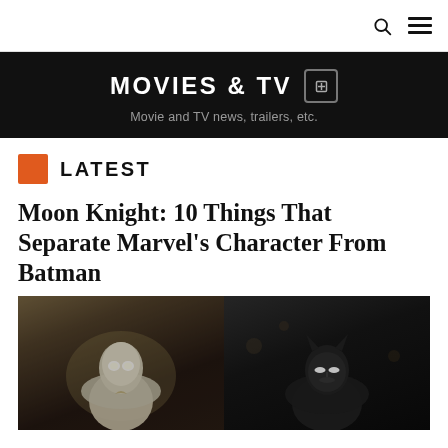MOVIES & TV — Movie and TV news, trailers, etc.
LATEST
Moon Knight: 10 Things That Separate Marvel's Character From Batman
[Figure (photo): Side-by-side image of Moon Knight (left, white masked superhero figure) and Batman (right, dark masked figure) in dark cinematic scenes]